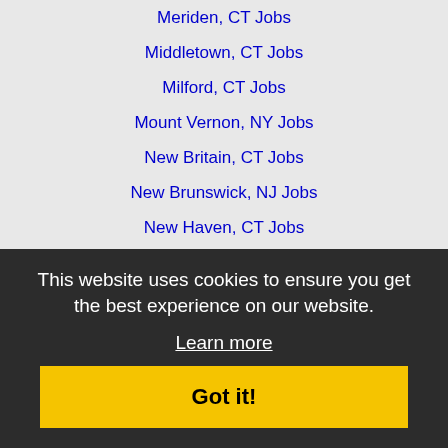Meriden, CT Jobs
Middletown, CT Jobs
Milford, CT Jobs
Mount Vernon, NY Jobs
New Britain, CT Jobs
New Brunswick, NJ Jobs
New Haven, CT Jobs
New Rochelle, NY Jobs
New York, NY Jobs
Newark, NJ Jobs
North Bergen, NJ Jobs
Norwalk, CT Jobs
Parsippany-Troy Hills Township, NJ Jobs
Passaic, NJ Jobs
Paterson, NJ Jobs
Perth Amboy, NJ Jobs
Philadelphia, PA Jobs
Plainfield, NJ Jobs
This website uses cookies to ensure you get the best experience on our website.
Learn more
Got it!